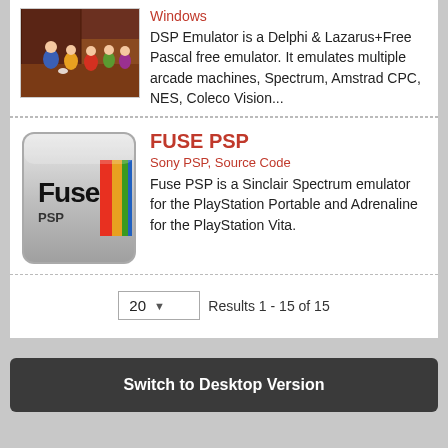[Figure (screenshot): Thumbnail image of a game screenshot showing cartoon characters on a reddish-brown background]
Windows
DSP Emulator is a Delphi & Lazarus+Free Pascal free emulator. It emulates multiple arcade machines, Spectrum, Amstrad CPC, NES, Coleco Vision...
[Figure (screenshot): Thumbnail image of the Fuse PSP logo on a silver rounded rectangle background with a rainbow stripe]
FUSE PSP
Sony PSP, Source Code
Fuse PSP is a Sinclair Spectrum emulator for the PlayStation Portable and Adrenaline for the PlayStation Vita.
20  Results 1 - 15 of 15
Switch to Desktop Version